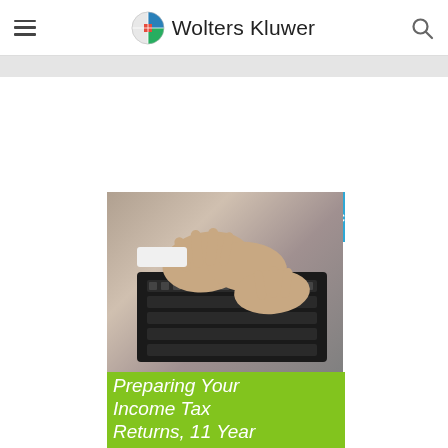Wolters Kluwer
[Figure (screenshot): Book cover for CCH IntelliConnect product showing hands typing on a laptop keyboard, with blue banner reading 'CCH® IntelliConnect®', green panel at bottom with italic white text 'Preparing Your Income Tax Returns, 11 Year']
Preparing Your Income Tax Returns, 11 Year